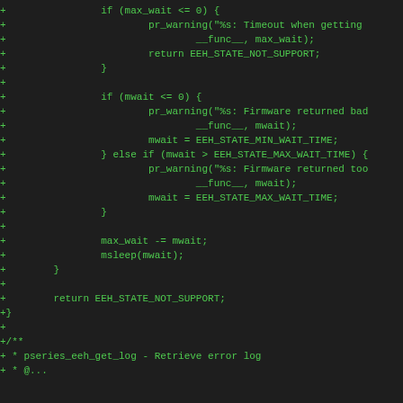[Figure (other): Code diff snippet showing C source code additions (lines prefixed with +) in green monospace font on dark background. Code includes conditional checks for max_wait and mwait variables with EEH state constants, sleep calls, and a function comment block beginning with pseries_eeh_get_log.]